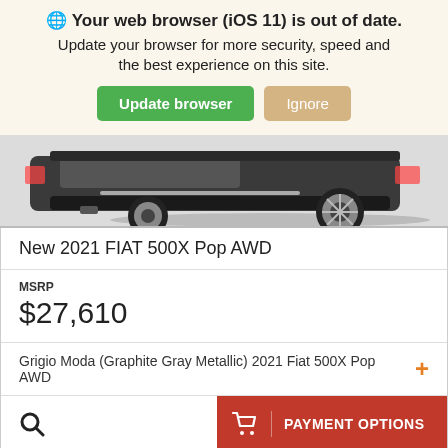Your web browser (iOS 11) is out of date.
Update your browser for more security, speed and the best experience on this site.
[Figure (screenshot): Partial rear view of a Fiat 500X SUV showing the rear bumper, wheel, and tire on a light gray background]
New 2021 FIAT 500X Pop AWD
MSRP
$27,610
Grigio Moda (Graphite Gray Metallic) 2021 Fiat 500X Pop AWD
PAYMENT OPTIONS
CHECK AVAILABILITY